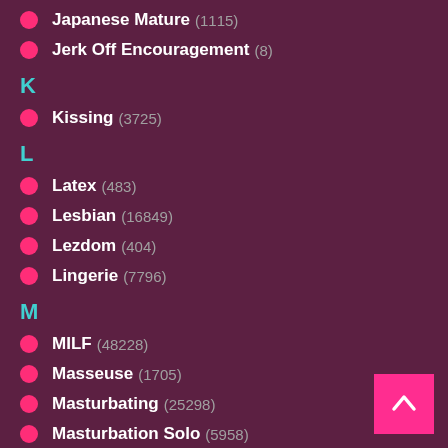Japanese Mature (1115)
Jerk Off Encouragement (8)
K
Kissing (3725)
L
Latex (483)
Lesbian (16849)
Lezdom (404)
Lingerie (7796)
M
MILF (48228)
Masseuse (1705)
Masturbating (25298)
Masturbation Solo (5958)
Mature Amateur (8858)
Mature BBW (2622)
Mature Teacher (230)